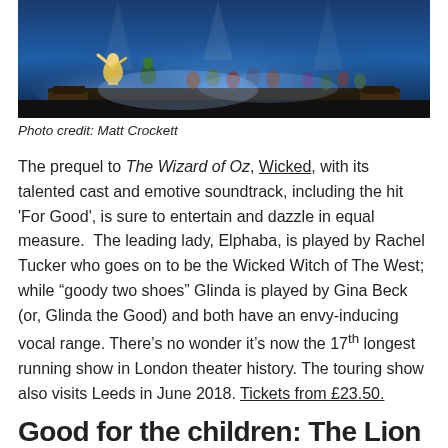[Figure (photo): Stage performance photo showing cast of Wicked musical with blue lighting, performers in colorful costumes on stage]
Photo credit: Matt Crockett
The prequel to The Wizard of Oz, Wicked, with its talented cast and emotive soundtrack, including the hit 'For Good', is sure to entertain and dazzle in equal measure.  The leading lady, Elphaba, is played by Rachel Tucker who goes on to be the Wicked Witch of The West; while "goody two shoes" Glinda is played by Gina Beck (or, Glinda the Good) and both have an envy-inducing vocal range. There's no wonder it's now the 17th longest running show in London theater history. The touring show also visits Leeds in June 2018. Tickets from £23.50.
Good for the children: The Lion Ki…